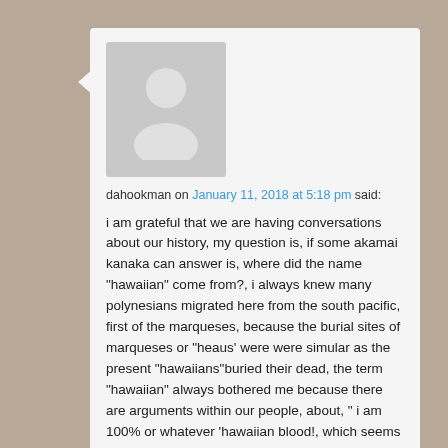[Figure (illustration): Gray placeholder avatar showing a silhouette of a person (head and shoulders) on a light gray background rectangle]
dahookman on January 11, 2018 at 5:18 pm said:
i am grateful that we are having conversations about our history, my question is, if some akamai kanaka can answer is, where did the name "hawaiian" come from?, i always knew many polynesians migrated here from the south pacific, first of the marqueses, because the burial sites of marqueses or "heaus' were were simular as the present "hawaiians"buried their dead, the term "hawaiian" always bothered me because there are arguments within our people, about, " i am 100% or whatever 'hawaiian blood!, which seems silly to me, i think as a akamai kanaka that the term "kanaka maole" describe us as "people of this land," being born here generation after generation after settlers came here, regardless of race,